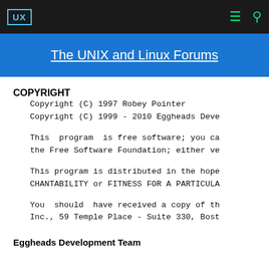UX | The UNIX and Linux Forums
The UNIX and Linux Forums
COPYRIGHT
Copyright (C) 1997 Robey Pointer
Copyright (C) 1999 - 2010 Eggheads Deve
This  program  is free software; you ca
the Free Software Foundation; either ve
This program is distributed in the hope
CHANTABILITY or FITNESS FOR A PARTICULA
You  should  have received a copy of th
Inc., 59 Temple Place - Suite 330, Bost
Eggheads Development Team